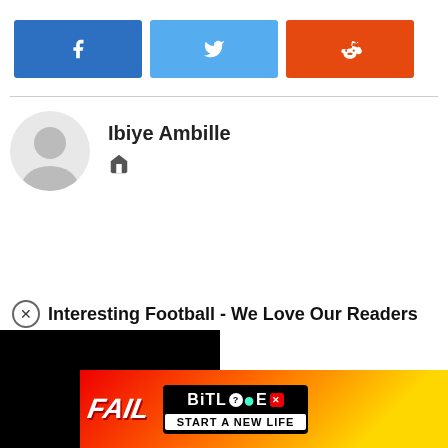[Figure (other): Social share buttons: Facebook (blue), Twitter (light blue), Reddit (orange-red)]
Ibiye Ambille
[Figure (other): Author avatar placeholder with person silhouette]
Home icon link
Interesting Football - We Love Our Readers
ite to give you the most mbering your preferences and cept All", you consent to the wever, you may visit "Cookie olled consent.
[Figure (other): Black video player block]
[Figure (other): BitLife advertisement banner with FAIL text and START A NEW LIFE tagline]